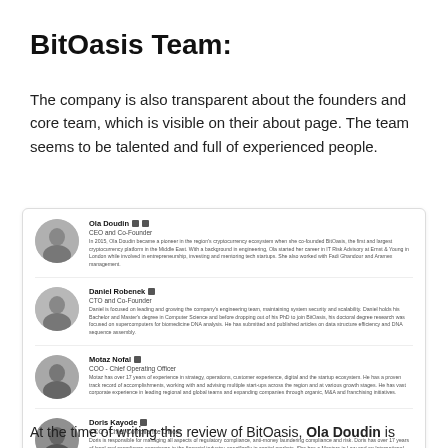BitOasis Team:
The company is also transparent about the founders and core team, which is visible on their about page. The team seems to be talented and full of experienced people.
[Figure (infographic): A card showing four team member profiles: Ola Doudin (CEO and Co-Founder), Daniel Robenek (CTO and Co-Founder), Motaz Nofal (COO - Chief Operating Officer), Doris Kayode (CCO - Chief Compliance Officer). Each profile has a circular avatar, name, title, and short bio. A teal circular button appears at the bottom right of the card.]
At the time of writing this review of BitOasis, Ola Doudin is